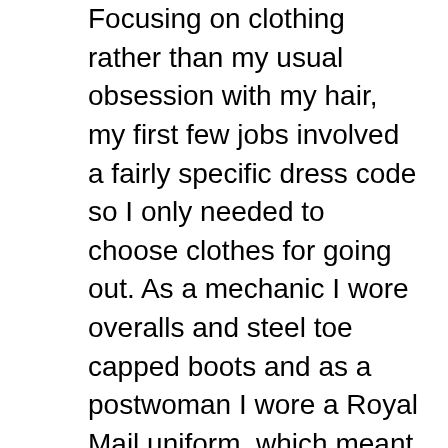Focusing on clothing rather than my usual obsession with my hair, my first few jobs involved a fairly specific dress code so I only needed to choose clothes for going out. As a mechanic I wore overalls and steel toe capped boots and as a postwoman I wore a Royal Mail uniform, which meant that I never woke up in the morning and had to plan an outfit. By the time I was 17 I'd transferred over to administration and once I moved past my initial stage of turning up to my job in the Personnel Department wearing jeans, I always knew what to wear. Offices have their own uniform, which despite the endless choices is actually quite straight forward. As long as you own lots of plain tops and stick to wearing either smart